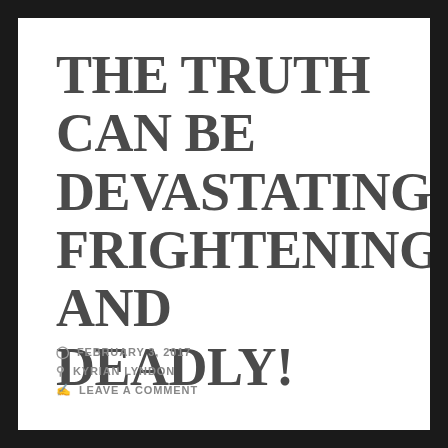THE TRUTH CAN BE DEVASTATING, FRIGHTENING, AND DEADLY!
FEBRUARY 3, 2017
KYRIAN LYNDON
LEAVE A COMMENT